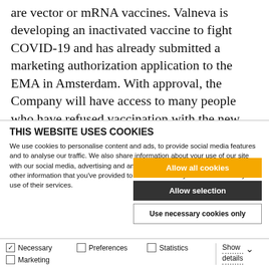are vector or mRNA vaccines. Valneva is developing an inactivated vaccine to fight COVID-19 and has already submitted a marketing authorization application to the EMA in Amsterdam. With approval, the Company will have access to many people who have refused vaccination with the new, little-researched mRNA vaccines but who
THIS WEBSITE USES COOKIES
We use cookies to personalise content and ads, to provide social media features and to analyse our traffic. We also share information about your use of our site with our social media, advertising and analytics partners who may combine it with other information that you've provided to them or that they've collected from your use of their services.